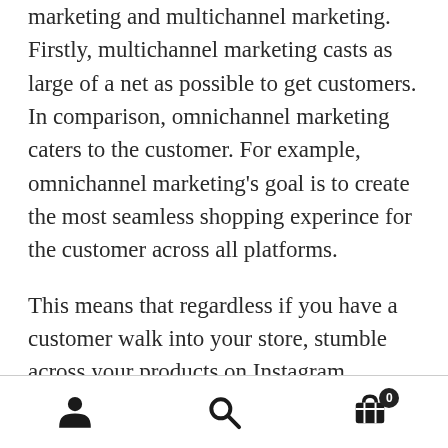marketing and multichannel marketing. Firstly, multichannel marketing casts as large of a net as possible to get customers. In comparison, omnichannel marketing caters to the customer. For example, omnichannel marketing's goal is to create the most seamless shopping experince for the customer across all platforms.
This means that regardless if you have a customer walk into your store, stumble across your products on Instagram, comment on your Facebook page, or any of the other ways a customer can manage to contact you, you deliver the same quality service.
[Figure (other): Mobile app bottom navigation bar with three icons: person/account icon, search magnifying glass icon, and shopping cart icon with badge showing 0]